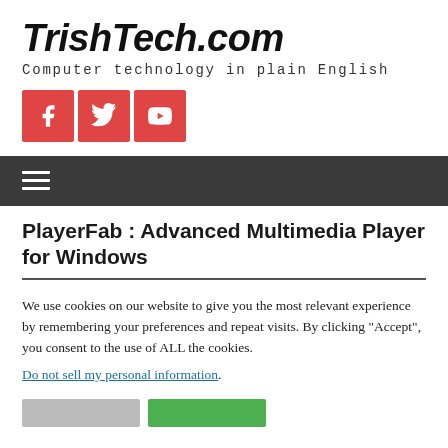TrishTech.com
Computer technology in plain English
[Figure (infographic): Three red social media icon buttons: Facebook, Twitter, YouTube]
[Figure (infographic): Dark navigation bar with hamburger menu icon]
PlayerFab : Advanced Multimedia Player for Windows
We use cookies on our website to give you the most relevant experience by remembering your preferences and repeat visits. By clicking “Accept”, you consent to the use of ALL the cookies.
Do not sell my personal information.